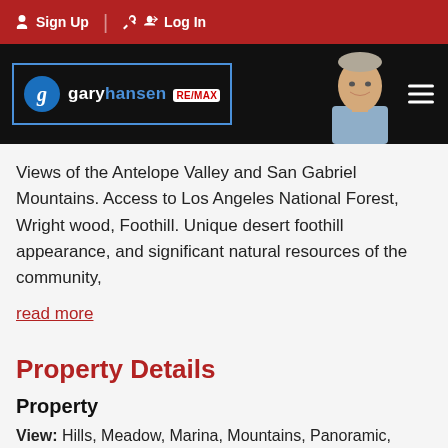Sign Up  Log In
[Figure (logo): Gary Hansen RE/MAX real estate agent logo with photo]
Views of the Antelope Valley and San Gabriel Mountains. Access to Los Angeles National Forest, Wright wood, Foothill. Unique desert foothill appearance, and significant natural resources of the community,
read more
Property Details
Property
View: Hills, Meadow, Marina, Mountains, Panoramic, Valley